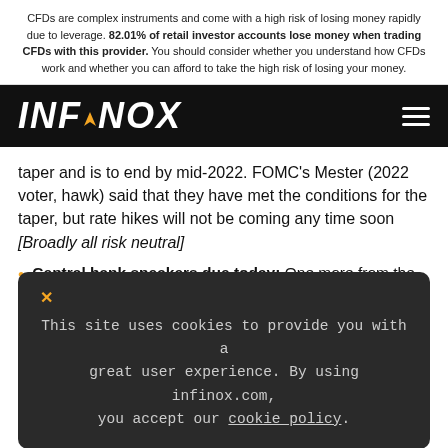CFDs are complex instruments and come with a high risk of losing money rapidly due to leverage. 82.01% of retail investor accounts lose money when trading CFDs with this provider. You should consider whether you understand how CFDs work and whether you can afford to take the high risk of losing your money.
INFINOX
taper and is to end by mid-2022. FOMC's Mester (2022 voter, hawk) said that they have met the conditions for the taper, but rate hikes will not be coming any time soon [Broadly all risk neutral]
Central bank speakers due today: One more from the
This site uses cookies to provide you with a great user experience. By using infinox.com, you accept our cookie policy.
F
Economic Data
US Weekly Jobless Claims at 1230GMT are expected to rise slightly to 298,000 (from 293,000 last week